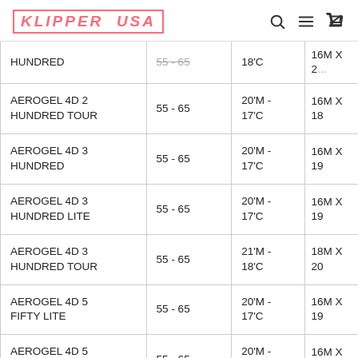KLIPPER USA
| Product | Tension | Temp | Size |
| --- | --- | --- | --- |
| HUNDRED (partial) | 55 - 65 | 18'C | 16M X 2... |
| AEROGEL 4D 2 HUNDRED TOUR | 55 - 65 | 20'M - 17'C | 16M X 18 |
| AEROGEL 4D 3 HUNDRED | 55 - 65 | 20'M - 17'C | 16M X 19 |
| AEROGEL 4D 3 HUNDRED LITE | 55 - 65 | 20'M - 17'C | 16M X 19 |
| AEROGEL 4D 3 HUNDRED TOUR | 55 - 65 | 21'M - 18'C | 18M X 20 |
| AEROGEL 4D 5 FIFTY LITE | 55 - 65 | 20'M - 17'C | 16M X 19 |
| AEROGEL 4D 5 HUNDRED | 55 - 65 | 20'M - 17'C | 16M X 18 |